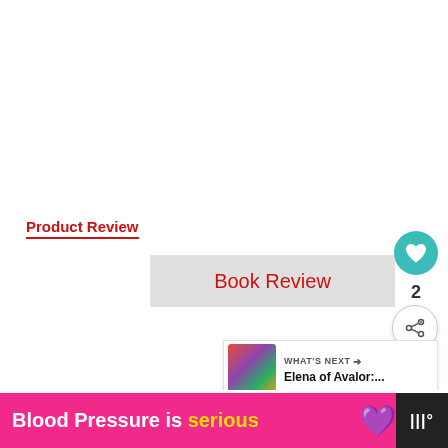Product Review
Book Review
[Figure (infographic): Heart/like button (teal circle with white heart icon), like count '2', and share button (white circle with share icon)]
[Figure (infographic): WHAT'S NEXT panel with thumbnail and text 'Elena of Avalor:...']
[Figure (infographic): Large bold green partial text reading 'NTIAL OU M' (partially visible)]
[Figure (infographic): Pink ad banner with text 'Blood Pressure is serious' with purple heart icon and dark logo box]